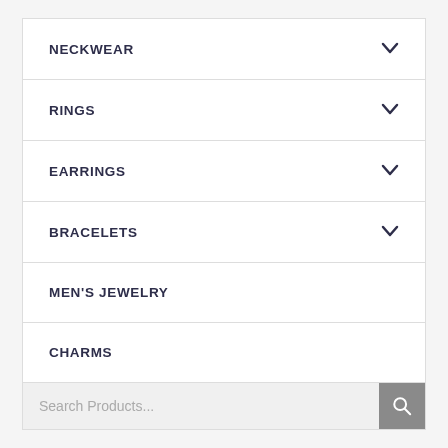NECKWEAR
RINGS
EARRINGS
BRACELETS
MEN'S JEWELRY
CHARMS
Search Products...